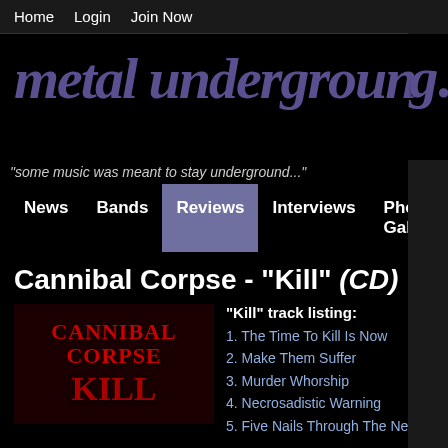Home   Login   Join Now
[Figure (logo): Metal Underground website logo in grungy purple/blue distressed font]
"some music was meant to stay underground..."
News  Bands  Reviews  Interviews  Photo Gallery  Forum  About Us
Cannibal Corpse - "Kill" (CD)
[Figure (photo): Cannibal Corpse Kill album cover art with red text on dark background]
"Kill" track listing:
1. The Time To Kill Is Now
2. Make Them Suffer
3. Murder Whorship
4. Necrosadistic Warning
5. Five Nails Through The Ne...